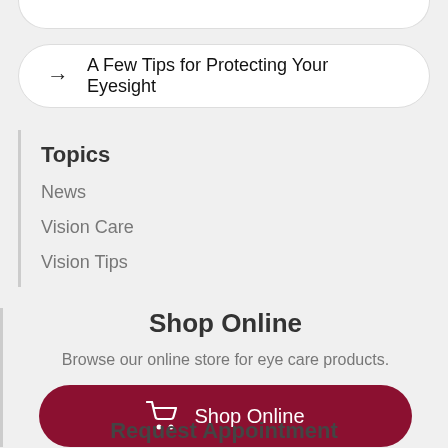→  A Few Tips for Protecting Your Eyesight
Topics
News
Vision Care
Vision Tips
Shop Online
Browse our online store for eye care products.
Shop Online
Request Appointment